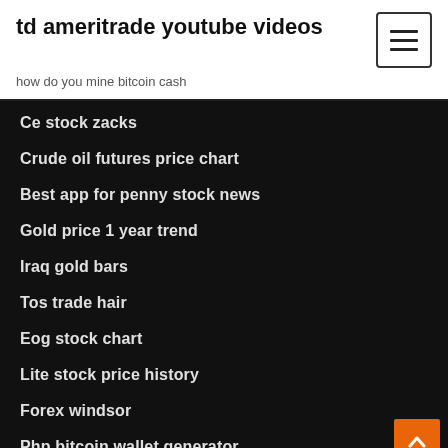td ameritrade youtube videos
how do you mine bitcoin cash
Ce stock zacks
Crude oil futures price chart
Best app for penny stock news
Gold price 1 year trend
Iraq gold bars
Tos trade hair
Eog stock chart
Lite stock price history
Forex windsor
Php bitcoin wallet generator